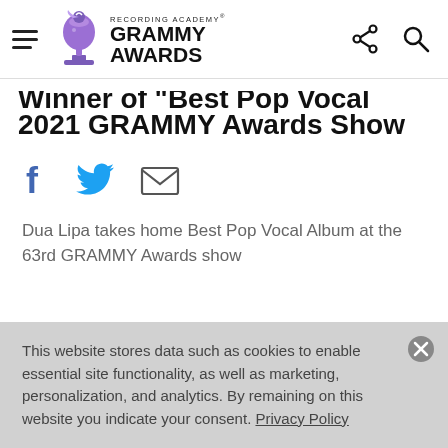Recording Academy GRAMMY AWARDS
2021 GRAMMY Awards Show
[Figure (other): Social sharing icons: Facebook, Twitter, Email]
Dua Lipa takes home Best Pop Vocal Album at the 63rd GRAMMY Awards show
This website stores data such as cookies to enable essential site functionality, as well as marketing, personalization, and analytics. By remaining on this website you indicate your consent. Privacy Policy